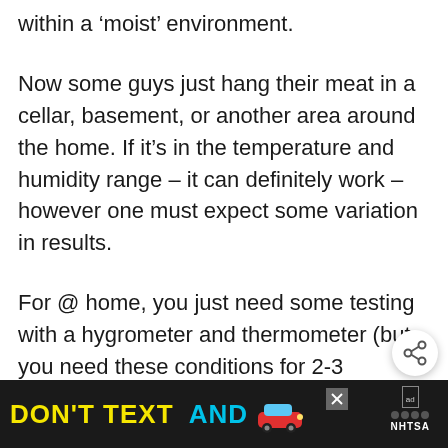within a ‘moist’ environment.
Now some guys just hang their meat in a cellar, basement, or another area around the home. If it’s in the temperature and humidity range – it can definitely work – however one must expect some variation in results.
For @ home, you just need some testing with a hygrometer and thermometer (but you need these conditions for 2-3 months).
[Figure (other): Share button icon (circular button with share/network symbol)]
[Figure (other): Advertisement banner at bottom: DON'T TEXT AND [car emoji] with ad label and NHTSA branding on black background]